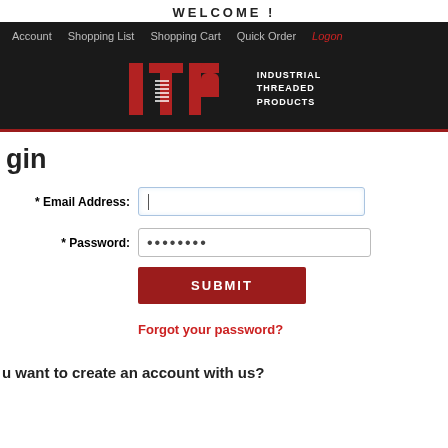WELCOME !
Account   Shopping List   Shopping Cart   Quick Order   Logon
[Figure (logo): Industrial Threaded Products (ITP) logo — red block letters i, T, P with threaded screw graphic, white text INDUSTRIAL THREADED PRODUCTS on dark background]
Login
* Email Address: [text input field]
* Password: [password input field with dots]
SUBMIT
Forgot your password?
Do you want to create an account with us?